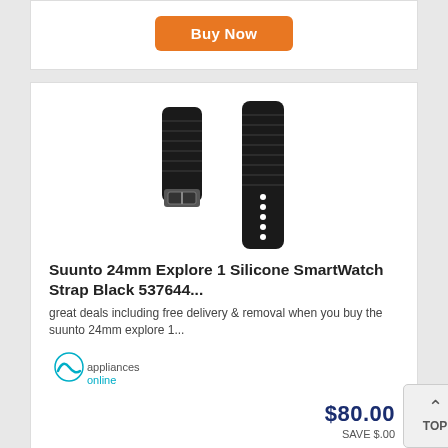[Figure (other): Orange 'Buy Now' button at top of page]
[Figure (photo): Suunto 24mm Explore 1 Silicone SmartWatch Strap Black - two black watch straps displayed]
Suunto 24mm Explore 1 Silicone SmartWatch Strap Black 537644...
great deals including free delivery & removal when you buy the suunto 24mm explore 1...
[Figure (logo): appliancesonline logo - teal circle with wave mark, text 'appliances online' in grey and teal]
$80.00
SAVE $.00